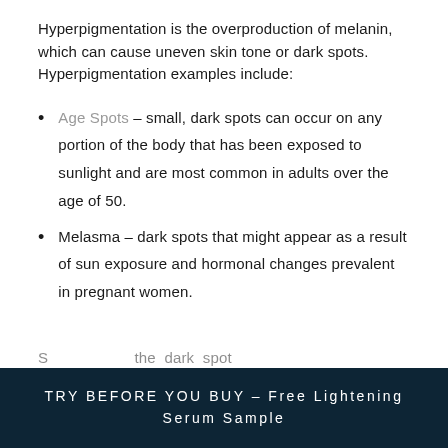Hyperpigmentation is the overproduction of melanin, which can cause uneven skin tone or dark spots. Hyperpigmentation examples include:
Age Spots – small, dark spots can occur on any portion of the body that has been exposed to sunlight and are most common in adults over the age of 50.
Melasma – dark spots that might appear as a result of sun exposure and hormonal changes prevalent in pregnant women.
TRY BEFORE YOU BUY - Free Lightening Serum Sample